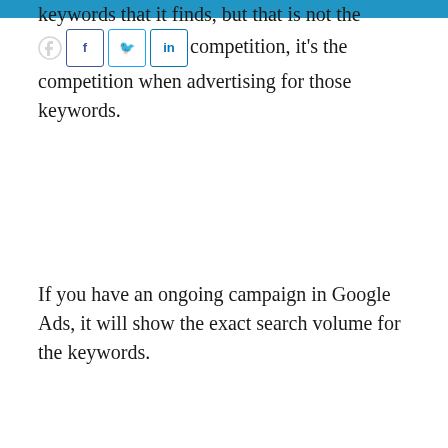keywords that it finds, but that is not the organic competition, it's the competition when advertising for those keywords.
If you have an ongoing campaign in Google Ads, it will show the exact search volume for the keywords.
It is still a very useful tool though, for generating keyword ideas!
Whether you have your own website or are considering starting a blog, this is one of the best tools available to help you find just